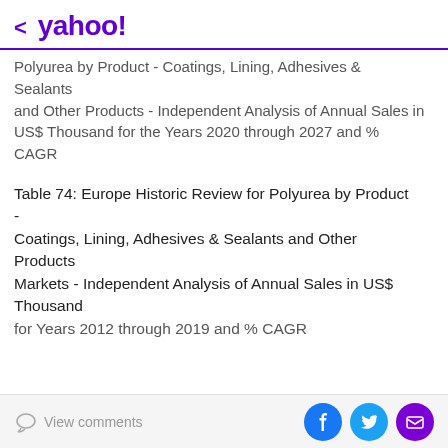< yahoo!
Polyurea by Product - Coatings, Lining, Adhesives & Sealants and Other Products - Independent Analysis of Annual Sales in US$ Thousand for the Years 2020 through 2027 and % CAGR
Table 74: Europe Historic Review for Polyurea by Product - Coatings, Lining, Adhesives & Sealants and Other Products Markets - Independent Analysis of Annual Sales in US$ Thousand for Years 2012 through 2019 and % CAGR
View comments